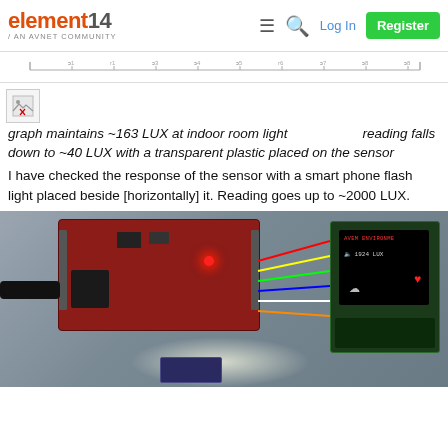element14 / AN AVNET COMMUNITY | Log In | Register
[Figure (other): Partial screenshot of a data graph showing LUX readings over time with a ruler/scale axis]
[Figure (other): Broken image icon placeholder]
graph maintains ~163 LUX at indoor room light                      reading falls down to ~40 LUX with a transparent plastic placed on the sensor
I have checked the response of the sensor with a smart phone flash light placed beside [horizontally] it. Reading goes up to ~2000 LUX.
[Figure (photo): Photo of an electronics prototype with a red PCB development board (LaunchPad), wired connections, and a small OLED display showing AVEM ENVIRONME / 1924 LUX with a heart/cloud icons]